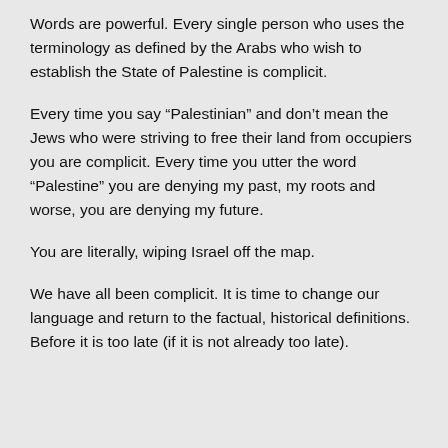Words are powerful. Every single person who uses the terminology as defined by the Arabs who wish to establish the State of Palestine is complicit.
Every time you say “Palestinian” and don’t mean the Jews who were striving to free their land from occupiers you are complicit. Every time you utter the word “Palestine” you are denying my past, my roots and worse, you are denying my future.
You are literally, wiping Israel off the map.
We have all been complicit. It is time to change our language and return to the factual, historical definitions. Before it is too late (if it is not already too late).